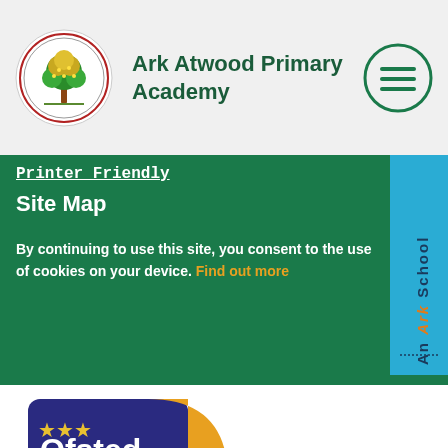Ark Atwood Primary Academy
Printer Friendly
Site Map
By continuing to use this site, you consent to the use of cookies on your device. Find out more
[Figure (logo): Ofsted Outstanding School 2012/2013 badge]
[Figure (logo): An Ark School vertical tab banner]